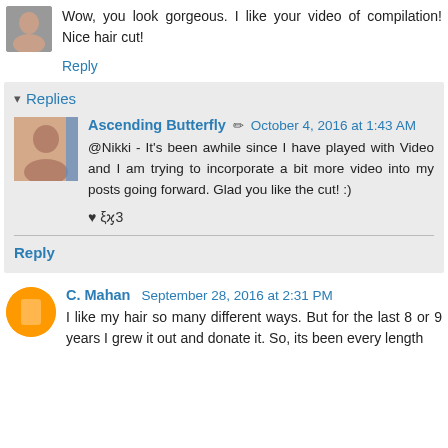Wow, you look gorgeous. I like your video of compilation! Nice hair cut!
Reply
Replies
Ascending Butterfly   October 4, 2016 at 1:43 AM
@Nikki - It's been awhile since I have played with Video and I am trying to incorporate a bit more video into my posts going forward. Glad you like the cut! :)
♥ ξϗ3
Reply
C. Mahan   September 28, 2016 at 2:31 PM
I like my hair so many different ways. But for the last 8 or 9 years I grew it out and donate it. So, its been every length